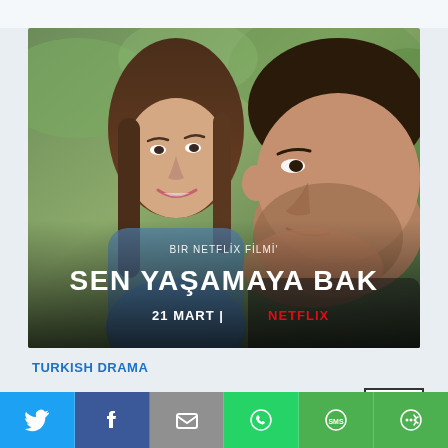[Figure (photo): Movie poster for 'Sen Yaşamaya Bak', a Netflix film. Shows a man and woman looking at camera with outdoor background. Text overlay reads 'BIR NETFLIX FILMI' at top, 'SEN YAŞAMAYA BAK' in large bold white letters, and '21 MART | NETFLIX' at the bottom with Netflix in red.]
TURKISH DRAMA